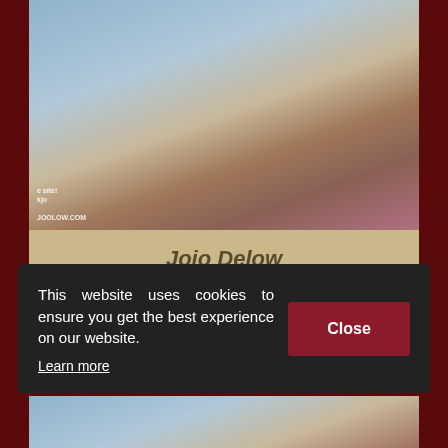[Figure (photo): A person in a red outfit sitting on a white bed, reaching toward the camera. Bedroom setting with nightstands and lamps visible.]
Jojo Delow
♡ domi @goal | finger pussy @2 | #squirt @3 | #strapon #hairy #natural #fit Lucky Guess Prize: domi control 5mins ♡
This website uses cookies to ensure you get the best experience on our website. Learn more
[Figure (photo): Partial view of another person or scene at the bottom of the page.]